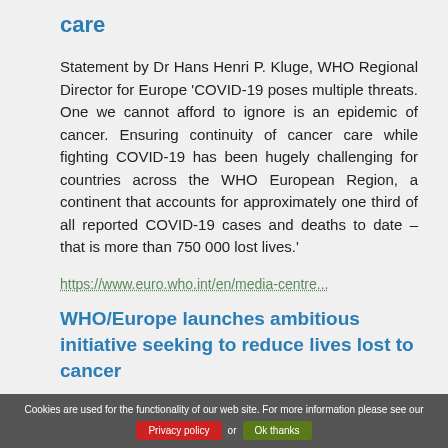care
Statement by Dr Hans Henri P. Kluge, WHO Regional Director for Europe 'COVID-19 poses multiple threats. One we cannot afford to ignore is an epidemic of cancer. Ensuring continuity of cancer care while fighting COVID-19 has been hugely challenging for countries across the WHO European Region, a continent that accounts for approximately one third of all reported COVID-19 cases and deaths to date – that is more than 750 000 lost lives.'
https://www.euro.who.int/en/media-centre...
WHO/Europe launches ambitious initiative seeking to reduce lives lost to cancer
Cookies are used for the functionality of our web site. For more information please see our Privacy policy or Ok thanks